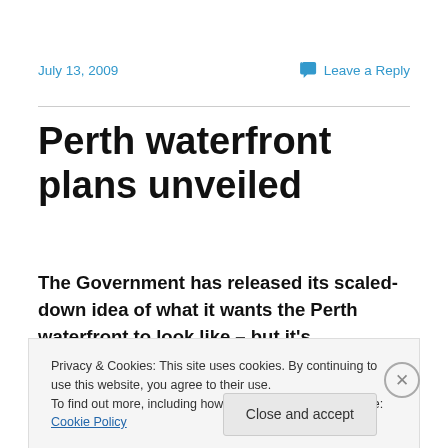July 13, 2009 | Leave a Reply
Perth waterfront plans unveiled
The Government has released its scaled-down idea of what it wants the Perth waterfront to look like – but it's
Privacy & Cookies: This site uses cookies. By continuing to use this website, you agree to their use.
To find out more, including how to control cookies, see here: Cookie Policy
Close and accept